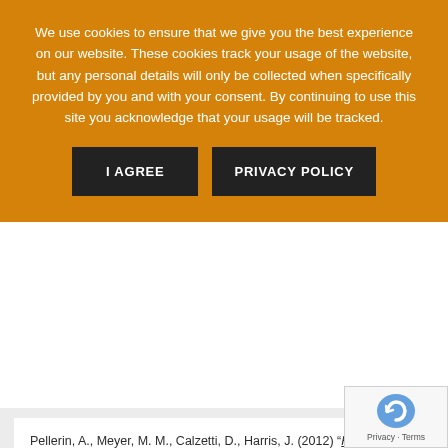We use cookies to ensure that we give you the best experience on our website. These cookies track your usage of the website, but any personal details will only be collected when specifically provided by you and with your consent. By continuing to use this site you acknowledge that your usage will be tracked.
I AGREE | PRIVACY POLICY
Pellerin, A., Meyer, M. M., Calzetti, D., Harris, J. (2012) "Hunting for Young Dispersing Star Clusters in IC 2574", The Astronomical Journal, 144, 182.
Perrott, Y. C., Scaife, A. M. M., Green, D. A., Davies, M. L., Franzen, T. M. O., Grainge, K. J. B., Hobson, M. P., Hurley-Walker, N., Lasenby, A. N., Olamaie, M., Pooley, G. G., Rodríguez-Gonzálvez, C., Rumsey, C., Saunders, R. D. E., Schammel, M. P., Scott, P. F., Shimwell, T. W., Titterington, D. J., Waldram, E. M., AMI Consortium (2013) "AMI Galactic Plane Survey at 16 GHz - I. Observing, mapping and source extraction", Monthly Notices of the